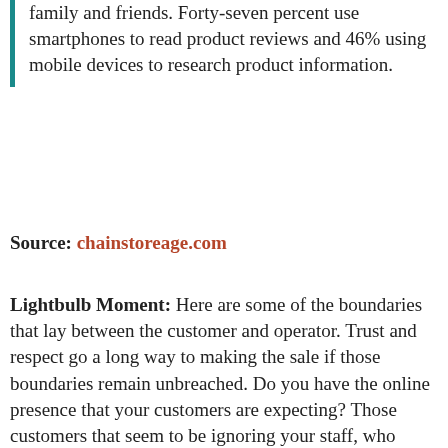family and friends. Forty-seven percent use smartphones to read product reviews and 46% using mobile devices to research product information.
Source: chainstoreage.com
Lightbulb Moment: Here are some of the boundaries that lay between the customer and operator. Trust and respect go a long way to making the sale if those boundaries remain unbreached. Do you have the online presence that your customers are expecting? Those customers that seem to be ignoring your staff, who seem wrapped up in their phone...may actually be communicating with your company that very moment. Don't discount the phone-centric, they are